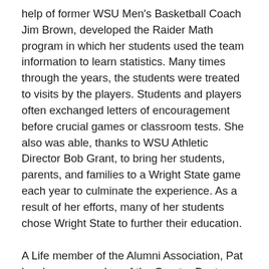help of former WSU Men's Basketball Coach Jim Brown, developed the Raider Math program in which her students used the team information to learn statistics. Many times through the years, the students were treated to visits by the players. Students and players often exchanged letters of encouragement before crucial games or classroom tests. She also was able, thanks to WSU Athletic Director Bob Grant, to bring her students, parents, and families to a Wright State game each year to culminate the experience. As a result of her efforts, many of her students chose Wright State to further their education.
A Life member of the Alumni Association, Pat has been a member of the Greater Dayton Alumni Association for many years and has tirelessly volunteered her time for many Wright State University programs and events. A true Raiders fan, you most always see Pat and Tom at the men's and women's basketball games as well as other events. They have participated in many bus trips in addition to their own trips to away games.  One of her goals is to expand their support to other Raider sports and to tailgate in their RV at each